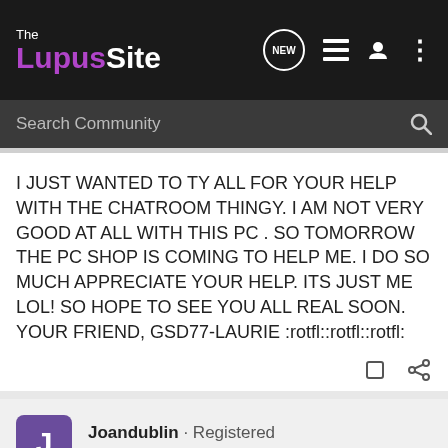The Lupus Site
Search Community
I JUST WANTED TO TY ALL FOR YOUR HELP WITH THE CHATROOM THINGY. I AM NOT VERY GOOD AT ALL WITH THIS PC . SO TOMORROW THE PC SHOP IS COMING TO HELP ME. I DO SO MUCH APPRECIATE YOUR HELP. ITS JUST ME LOL! SO HOPE TO SEE YOU ALL REAL SOON. YOUR FRIEND, GSD77-LAURIE :rotfl::rotfl::rotfl:
Joandublin · Registered
Joined Nov 17, 2005 · 6,152 Posts
#6 · Mar 10, 2009